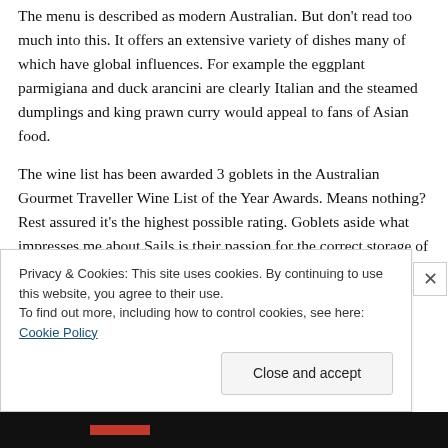The menu is described as modern Australian. But don't read too much into this. It offers an extensive variety of dishes many of which have global influences. For example the eggplant parmigiana and duck arancini are clearly Italian and the steamed dumplings and king prawn curry would appeal to fans of Asian food.
The wine list has been awarded 3 goblets in the Australian Gourmet Traveller Wine List of the Year Awards. Means nothing? Rest assured it's the highest possible rating. Goblets aside what impresses me about Sails is their passion for the correct storage of wine. Too often I visit a
Privacy & Cookies: This site uses cookies. By continuing to use this website, you agree to their use.
To find out more, including how to control cookies, see here: Cookie Policy
Close and accept